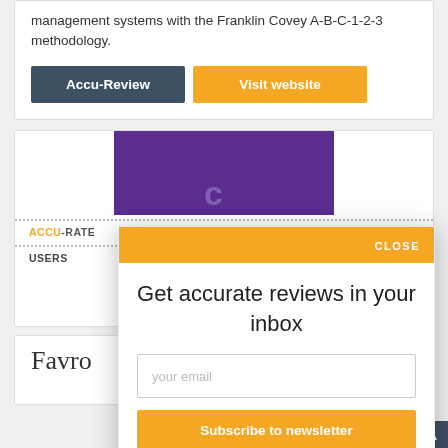management systems with the Franklin Covey A-B-C-1-2-3 methodology.
Accu-Review
Visit website
[Figure (screenshot): Purple brand banner with a stylized letter/logo mark at the bottom]
ACCU-RATE
USERS
[Figure (infographic): Modal popup with orange header showing CLOSE, title 'Get accurate reviews in your inbox', email input field, and Subscribe to newsletter button]
Get accurate reviews in your inbox
your email
Subscribe to newsletter
Favro
free